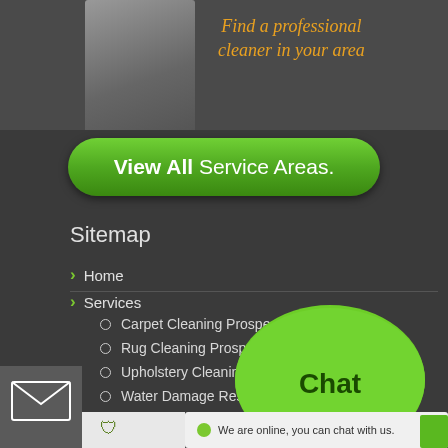[Figure (screenshot): Top banner with woman photo and text 'Find a professional cleaner in your area' in orange italic, dark background]
View All Service Areas.
Sitemap
Home
Services
Carpet Cleaning Prospect Heights
Rug Cleaning Prospect Heights
Upholstery Cleaning Prospect Heights
Water Damage Restoration Prospect Heights
Air Duct Cleaning Prospect Heights
Tile and Grout Cleaning Pro...
Sofa Cleaning Prospect H...
Mattress Cleaning Prosp...
Spot and Stain Removal Pro...
Pet Stain and Odor Removal Prospect Heights
Mold and Mildew Re...
[Figure (screenshot): Green chat bubble overlay with 'Chat' text, 'Click to chat. We are ready to help you.' box, and 'We are online, you can chat with us.' bar at bottom]